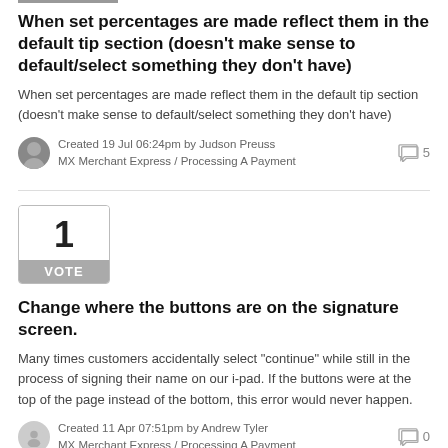When set percentages are made reflect them in the default tip section (doesn't make sense to default/select something they don't have)
When set percentages are made reflect them in the default tip section (doesn't make sense to default/select something they don't have)
Created 19 Jul 06:24pm by Judson Preuss
MX Merchant Express / Processing A Payment
5
[Figure (other): Vote box showing number 1 with VOTE label below]
Change where the buttons are on the signature screen.
Many times customers accidentally select "continue" while still in the process of signing their name on our i-pad. If the buttons were at the top of the page instead of the bottom, this error would never happen.
Created 11 Apr 07:51pm by Andrew Tyler
MX Merchant Express / Processing A Payment
0